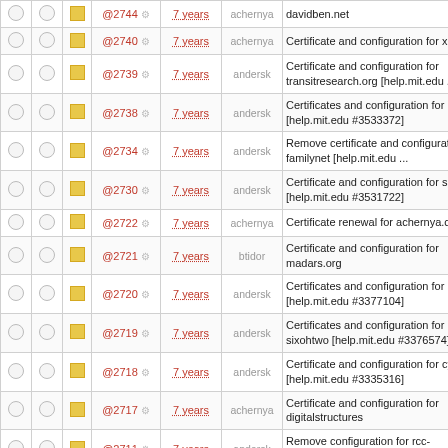|  |  |  | Ticket | Age | User | Description |
| --- | --- | --- | --- | --- | --- | --- |
| ○ | ○ | ■ | @2744 ⚙ | 7 years | achernya | davidben.net |
| ○ | ○ | ■ | @2740 ⚙ | 7 years | achernya | Certificate and configuration for xcluster |
| ○ | ○ | ■ | @2739 ⚙ | 7 years | andersk | Certificate and configuration for transitresearch.org [help.mit.edu ... |
| ○ | ○ | ■ | @2738 ⚙ | 7 years | andersk | Certificates and configuration for maslab [help.mit.edu #3533372] |
| ○ | ○ | ■ | @2734 ⚙ | 7 years | andersk | Remove certificate and configuration for familynet [help.mit.edu ... |
| ○ | ○ | ■ | @2730 ⚙ | 7 years | andersk | Certificate and configuration for sl2.xyz [help.mit.edu #3531722] |
| ○ | ○ | ■ | @2722 ⚙ | 7 years | achernya | Certificate renewal for achernya.com |
| ○ | ○ | ■ | @2721 ⚙ | 7 years | btidor | Certificate and configuration for madars.org |
| ○ | ○ | ■ | @2720 ⚙ | 7 years | andersk | Certificates and configuration for aepi [help.mit.edu #3377104] |
| ○ | ○ | ■ | @2719 ⚙ | 7 years | andersk | Certificates and configuration for sixohtwo [help.mit.edu #3376574] |
| ○ | ○ | ■ | @2718 ⚙ | 7 years | andersk | Certificate and configuration for cycling [help.mit.edu #3335316] |
| ○ | ○ | ■ | @2717 ⚙ | 7 years | achernya | Certificate and configuration for digitalstructures |
| ○ | ○ | ■ | @2711 ⚙ | 7 years | andersk | Remove configuration for rcc-d7dev.mit.edu [help.mit.edu ... |